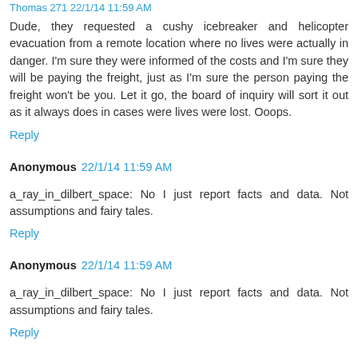Thomas 271 22/1/14 11:59 AM
Dude, they requested a cushy icebreaker and helicopter evacuation from a remote location where no lives were actually in danger. I'm sure they were informed of the costs and I'm sure they will be paying the freight, just as I'm sure the person paying the freight won't be you. Let it go, the board of inquiry will sort it out as it always does in cases were lives were lost. Ooops.
Reply
Anonymous  22/1/14 11:59 AM
a_ray_in_dilbert_space: No I just report facts and data. Not assumptions and fairy tales.
Reply
Anonymous  22/1/14 11:59 AM
a_ray_in_dilbert_space: No I just report facts and data. Not assumptions and fairy tales.
Reply